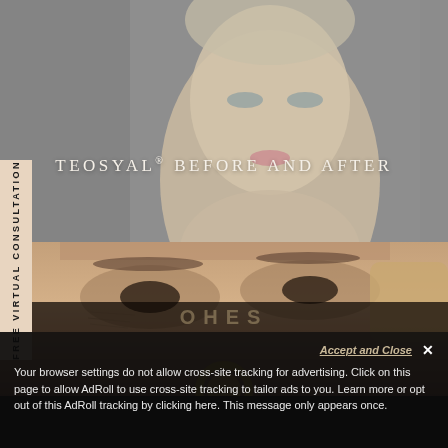[Figure (photo): Woman with blonde hair and blue eyes against gray background, beauty/cosmetic treatment advertisement]
TEOSYAL® BEFORE AND AFTER
[Figure (photo): Close-up of woman's eyes showing skin texture around eye area, with hand touching face; gold ring/device visible at bottom]
FREE VIRTUAL CONSULTATION
Accept and Close ×
Your browser settings do not allow cross-site tracking for advertising. Click on this page to allow AdRoll to use cross-site tracking to tailor ads to you. Learn more or opt out of this AdRoll tracking by clicking here. This message only appears once.